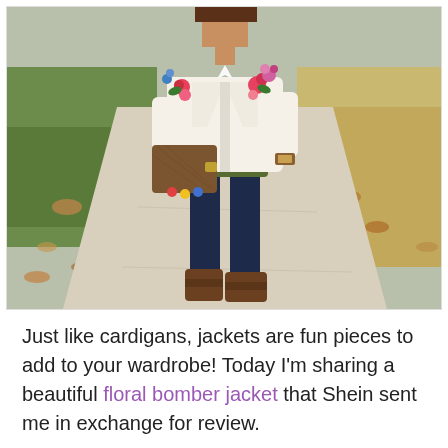[Figure (photo): A woman standing on a sidewalk outdoors wearing a white floral bomber jacket over an olive green top, dark navy skinny jeans, and brown ankle boots. She is holding a brown woven clutch bag with colorful pom-pom accents. The background shows grass, fallen leaves, and a concrete path.]
Just like cardigans, jackets are fun pieces to add to your wardrobe! Today I'm sharing a beautiful floral bomber jacket that Shein sent me in exchange for review.